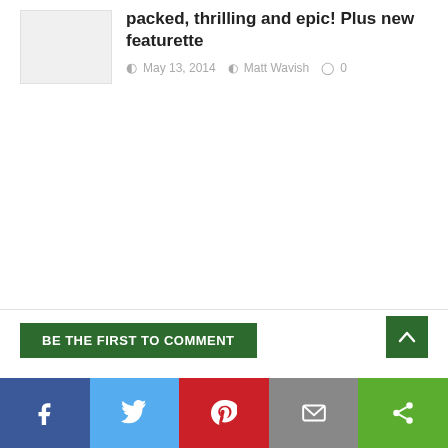[Figure (photo): Small gray thumbnail image placeholder]
packed, thrilling and epic! Plus new featurette
May 13, 2014  Matt Wavish  0
BE THE FIRST TO COMMENT
[Figure (infographic): Social share bar with Facebook, Twitter, Pinterest, Email, and Share buttons]